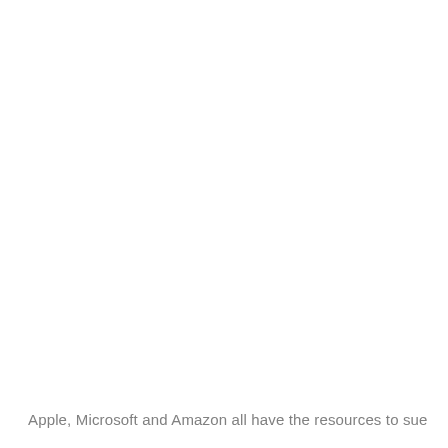Apple, Microsoft and Amazon all have the resources to sue